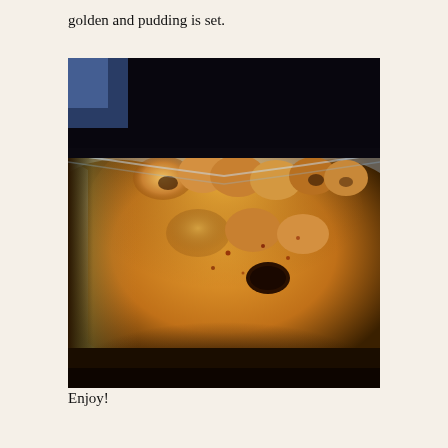golden and pudding is set.
[Figure (photo): Close-up photo of a bread pudding or similar baked dessert in a clear glass baking dish, with golden-brown tops on bread pieces and dark raisins or fruit visible, sitting on a dark surface.]
Enjoy!